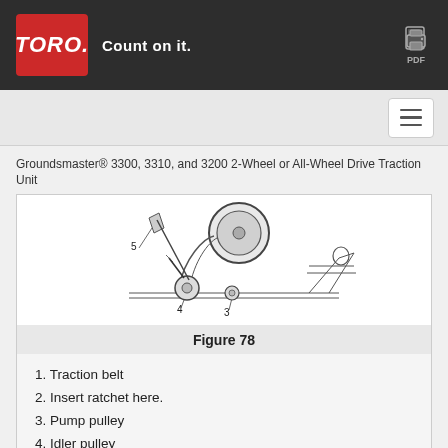TORO. Count on it.
Groundsmaster® 3300, 3310, and 3200 2-Wheel or All-Wheel Drive Traction Unit
[Figure (engineering-diagram): Mechanical diagram showing traction belt assembly with labeled parts: 3 (Pump pulley), 4 (Idler pulley), 5 (Engine pulley) and a ratchet insertion point.]
Figure 78
1. Traction belt
2. Insert ratchet here.
3. Pump pulley
4. Idler pulley
5. Engine pulley